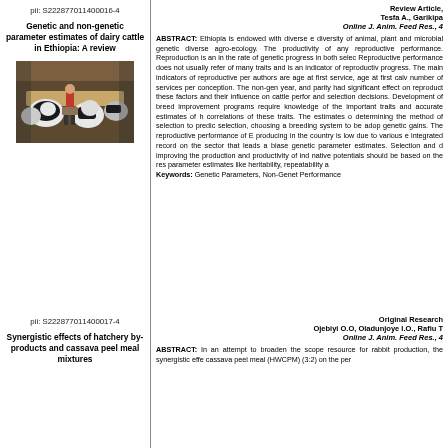pii: S222877011400016-4
Genetic and non-genetic parameter estimates of dairy cattle in Ethiopia: A review
[Figure (photo): Photograph of dairy cattle in a barn/feed area with a person in red clothing]
Review Article, Tesfa A., Garikipa
Online J. Anim. Feed Res., 4
ABSTRACT: Ethiopia is endowed with diverse diversity of animal, plant and microbial genetic diverse agro-ecology. The productivity of any reproductive performance. Reproduction is an in the rate of genetic progress in both selec Reproductive performance does not usually refer of many traits and is an indicator of reproductiv progress. The main indicators of reproductive per authors are age at first service, age at first calv number of services per conception. The non-gen year, and parity had significant effect on reproduct these factors and their influence on cattle perfor and selection decisions. Development of breed improvement programs require knowledge of the important traits and accurate estimates of h correlations of these traits. The estimates o determining the method of selection to predict selection, choosing a breeding system to be adop genetic gains. The reproductive performance of E producing in the country is low due to various e integrated record on the sector that leads a biase genetic parameter estimates. Selection and d improving the production and productivity of ind native potentials should be based on the res parameter estimates like heritability, repeatability a
Keywords: Genetic Parameters, Non-Genet Performance
pii: S222877011400017-4
Synergistic effects of hatchery by-products and cassava peel meal mixtures
Original Research
Ojebiyi O.O, Oladunjoye I.O., Rafiu T
Online J. Anim. Feed Res., 4
ABSTRACT: In an attempt to broaden the scope resource for rabbit production, the synergistic effe cassava peel meal (HWCPM) (3:2) on the per